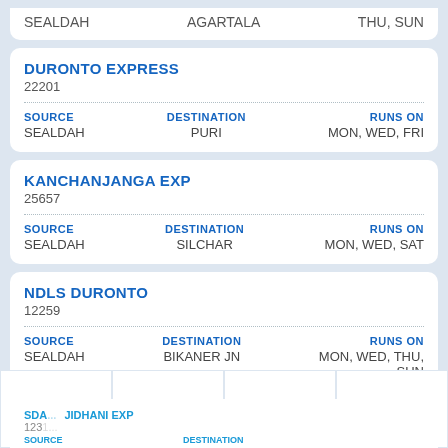SEALDAH   AGARTALA   THU, SUN
DURONTO EXPRESS
22201
SOURCE: SEALDAH   DESTINATION: PURI   RUNS ON: MON, WED, FRI
KANCHANJANGA EXP
25657
SOURCE: SEALDAH   DESTINATION: SILCHAR   RUNS ON: MON, WED, SAT
NDLS DURONTO
12259
SOURCE: SEALDAH   DESTINATION: BIKANER JN   RUNS ON: MON, WED, THU, SUN
SDA... JIDHANI EXP 1231...
PNR   LIVE   SEARCH   TRIPS